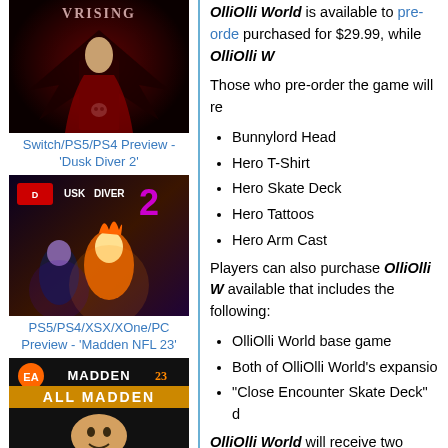[Figure (photo): V Rising game cover art showing a vampire character on a throne]
Switch/PS5/PS4 Preview - 'Dusk Diver 2'
[Figure (photo): Dusk Diver 2 game cover art with anime-style characters]
PS5/PS4/XSX/XOne/PC Preview - 'Madden NFL 23'
[Figure (photo): Madden NFL 23 All Madden Edition game cover]
OlliOlli World is available to pre-order and can be purchased for $29.99, while OlliOlli W
Those who pre-order the game will re
Bunnylord Head
Hero T-Shirt
Hero Skate Deck
Hero Tattoos
Hero Arm Cast
Players can also purchase OlliOlli W available that includes the following:
OlliOlli World base game
Both of OlliOlli World's expansions
"Close Encounter Skate Deck" d
OlliOlli World will receive two expan release in Summer 2022 and will con gameplay and customization items. T more details to come regarding these
Key Features: